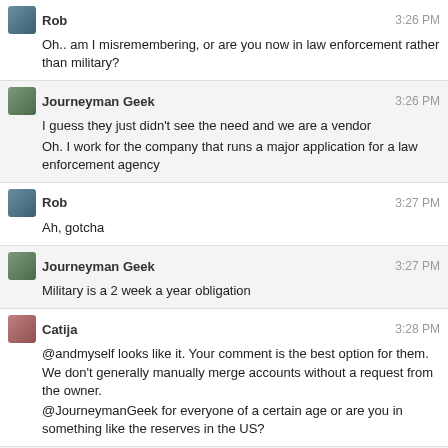Rob 3:26 PM
Oh.. am I misremembering, or are you now in law enforcement rather than military?
Journeyman Geek 3:26 PM
I guess they just didn't see the need and we are a vendor
Oh. I work for the company that runs a major application for a law enforcement agency
Rob 3:27 PM
Ah, gotcha
Journeyman Geek 3:27 PM
Military is a 2 week a year obligation
Catija 3:28 PM
@andmyself looks like it. Your comment is the best option for them. We don't generally manually merge accounts without a request from the owner.
@JourneymanGeek for everyone of a certain age or are you in something like the reserves in the US?
Journeyman Geek 3:30 PM
@Catija the former
We're considered part of the military proper
Actually it's the Israeli model with tweaks. There's a mandatory conscription period and a term of service
It's about a decade then you're in the reserves
and myself 3:34 PM